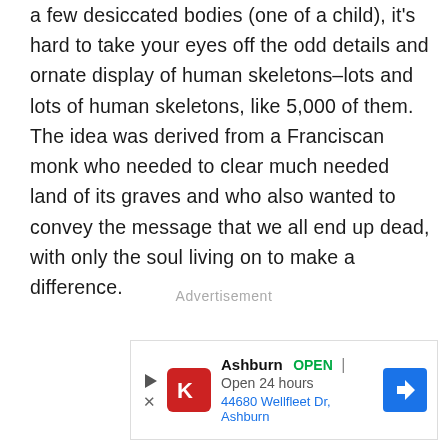a few desiccated bodies (one of a child), it's hard to take your eyes off the odd details and ornate display of human skeletons–lots and lots of human skeletons, like 5,000 of them. The idea was derived from a Franciscan monk who needed to clear much needed land of its graves and who also wanted to convey the message that we all end up dead, with only the soul living on to make a difference.
Advertisement
[Figure (other): Advertisement banner showing Ashburn location: OPEN | Open 24 hours, 44680 Wellfleet Dr, Ashburn, with a red K logo and blue navigation arrow icon]